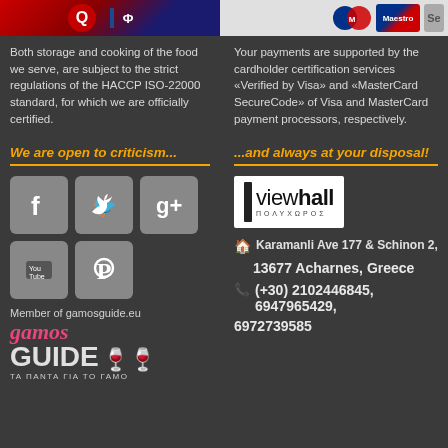[Figure (logo): Top strip with logos on left (red and blue) and right (Maestro badge)]
Both storage and cooking of the food we serve, are subject to the strict regulations of the HACCP ISO-22000 standard, for which we are officially certified.
Your payments are supported by the cardholder certification services «Verified by Visa» and «MasterCard SecureCode» of Visa and MasterCard payment processors, respectively.
We are open to criticism...
...and always at your disposal!
[Figure (logo): Social media icons: Facebook, Twitter, Google+, YouTube, Pinterest]
Member of gamosguide.eu
[Figure (logo): gamos GUIDE logo with wine glass icons and Greek text TA PANTA GIA TO GAMO]
[Figure (logo): viewhall ΠΟΛΥΧΩΡΟΣ logo]
Karamanli Ave 177 & Schinon 2, 13677 Acharnes, Greece
(+30) 2102446845, 6947965429, 6972739585